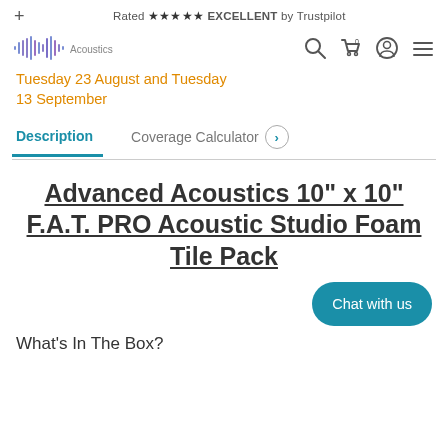Rated ★★★★★ EXCELLENT by Trustpilot
[Figure (logo): Advanced Acoustics waveform logo with purple/blue waveform graphic and text]
Tuesday 23 August and Tuesday 13 September
Description | Coverage Calculator
Advanced Acoustics 10" x 10" F.A.T. PRO Acoustic Studio Foam Tile Pack
Chat with us
What's In The Box?